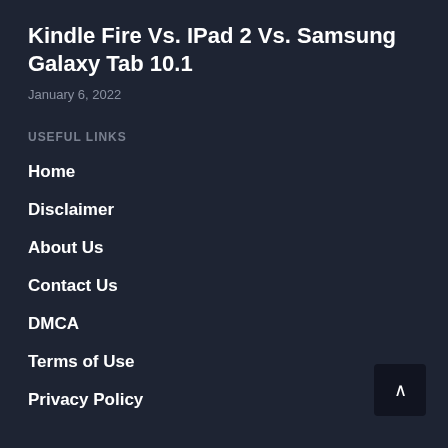Kindle Fire Vs. IPad 2 Vs. Samsung Galaxy Tab 10.1
January 6, 2022
USEFUL LINKS
Home
Disclaimer
About Us
Contact Us
DMCA
Terms of Use
Privacy Policy